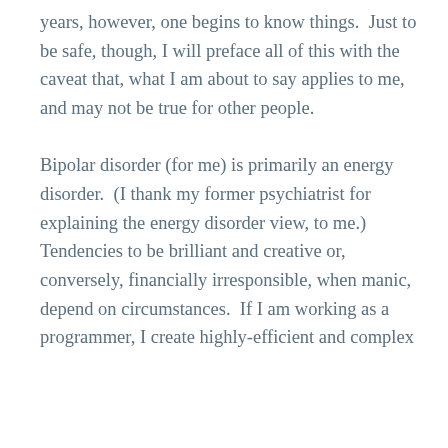years, however, one begins to know things.  Just to be safe, though, I will preface all of this with the caveat that, what I am about to say applies to me, and may not be true for other people.

Bipolar disorder (for me) is primarily an energy disorder.  (I thank my former psychiatrist for explaining the energy disorder view, to me.)  Tendencies to be brilliant and creative or, conversely, financially irresponsible, when manic, depend on circumstances.  If I am working as a programmer, I create highly-efficient and complex